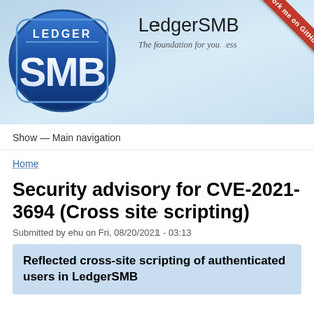[Figure (logo): LedgerSMB logo: oval badge with 'LEDGER' text above 'SMB' in large white letters on dark blue gradient background]
LedgerSMB
The foundation for your business
Show — Main navigation
Home
Security advisory for CVE-2021-3694 (Cross site scripting)
Submitted by ehu on Fri, 08/20/2021 - 03:13
Reflected cross-site scripting of authenticated users in LedgerSMB